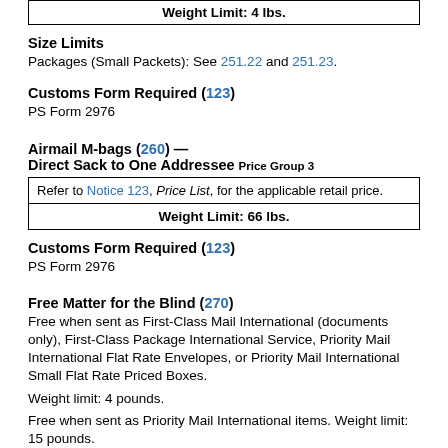| Weight Limit: 4 lbs. |
Size Limits
Packages (Small Packets): See 251.22 and 251.23.
Customs Form Required (123)
PS Form 2976
Airmail M-bags (260) —
Direct Sack to One Addressee Price Group 3
| Refer to Notice 123, Price List, for the applicable retail price. |
| Weight Limit: 66 lbs. |
Customs Form Required (123)
PS Form 2976
Free Matter for the Blind (270)
Free when sent as First-Class Mail International (documents only), First-Class Package International Service, Priority Mail International Flat Rate Envelopes, or Priority Mail International Small Flat Rate Priced Boxes.
Weight limit: 4 pounds.
Free when sent as Priority Mail International items. Weight limit: 15 pounds.